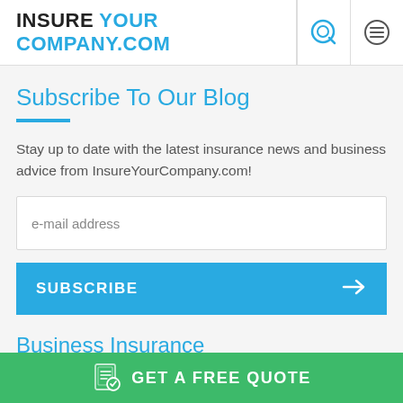INSURE YOUR COMPANY.COM
Subscribe To Our Blog
Stay up to date with the latest insurance news and business advice from InsureYourCompany.com!
e-mail address
SUBSCRIBE
Business Insurance
GET A FREE QUOTE